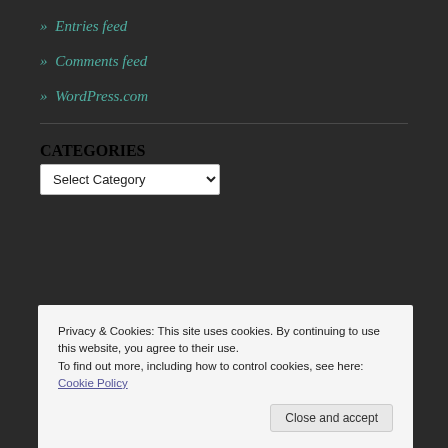» Entries feed
» Comments feed
» WordPress.com
CATEGORIES
Select Category
Privacy & Cookies: This site uses cookies. By continuing to use this website, you agree to their use.
To find out more, including how to control cookies, see here: Cookie Policy
Close and accept